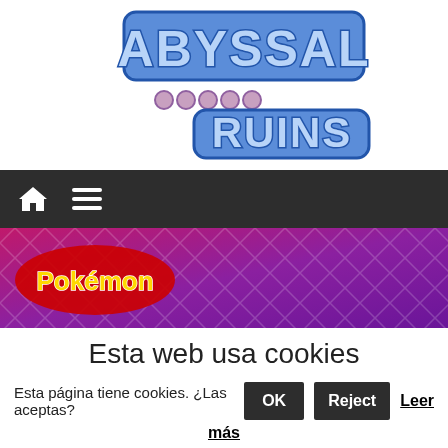[Figure (logo): Abyssal Ruins logo in blue bubble letters with decorative styling]
[Figure (illustration): Navigation bar with home icon and hamburger menu on dark background]
[Figure (illustration): Pokemon banner with magenta/purple diamond pattern background, Pokemon logo on left, fox Pokemon ears on right]
Esta web usa cookies
Esta página tiene cookies. ¿Las aceptas?
OK
Reject
Leer más